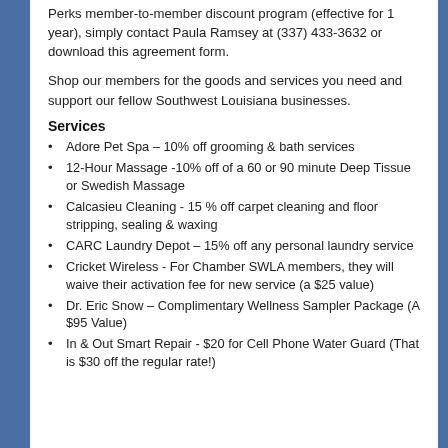Perks member-to-member discount program (effective for 1 year), simply contact Paula Ramsey at (337) 433-3632 or download this agreement form.
Shop our members for the goods and services you need and support our fellow Southwest Louisiana businesses.
Services
Adore Pet Spa – 10% off grooming & bath services
12-Hour Massage -10% off of a 60 or 90 minute Deep Tissue or Swedish Massage
Calcasieu Cleaning - 15 % off carpet cleaning and floor stripping, sealing & waxing
CARC Laundry Depot – 15% off any personal laundry service
Cricket Wireless - For Chamber SWLA members, they will waive their activation fee for new service (a $25 value)
Dr. Eric Snow – Complimentary Wellness Sampler Package (A $95 Value)
In & Out Smart Repair - $20 for Cell Phone Water Guard (That is $30 off the regular rate!)